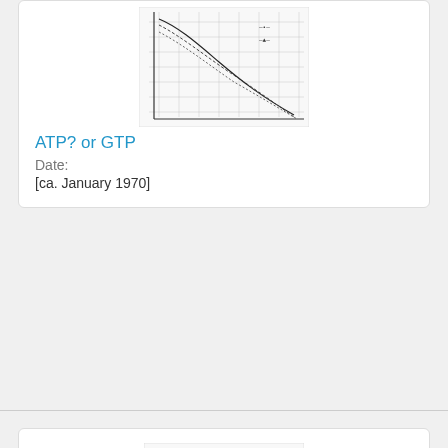[Figure (continuous-plot): Scanned scientific graph with grid lines and multiple downward-sloping curves, handwritten/printed labels, related to ATP or GTP biochemistry experiment]
ATP? or GTP
Date:
[ca. January 1970]
[Figure (continuous-plot): Scanned scientific graph on grid paper showing multiple S-shaped or sigmoidal curves rising from bottom-left, related to Release of Glucagon I-125 experiment]
Release of Glucagon -- I-125
Date:
13 January 1970